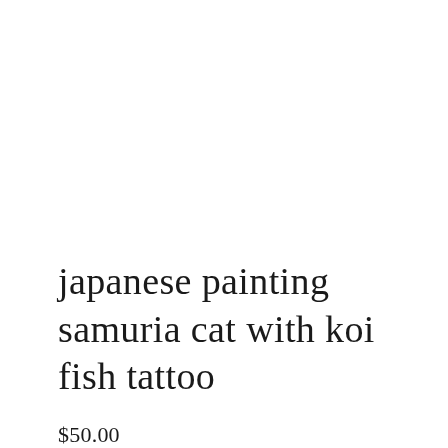japanese painting samuria cat with koi fish tattoo
$50.00